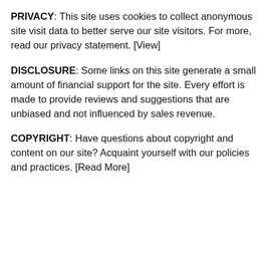PRIVACY: This site uses cookies to collect anonymous site visit data to better serve our site visitors. For more, read our privacy statement. [View]
DISCLOSURE: Some links on this site generate a small amount of financial support for the site. Every effort is made to provide reviews and suggestions that are unbiased and not influenced by sales revenue.
COPYRIGHT: Have questions about copyright and content on our site? Acquaint yourself with our policies and practices. [Read More]